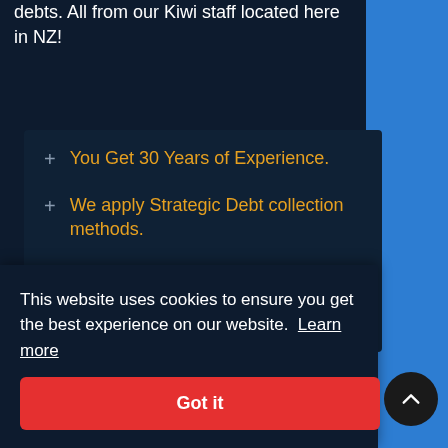debts. All from our Kiwi staff located here in NZ!
You Get 30 Years of Experience.
We apply Strategic Debt collection methods.
We understand!
You get a superior
This website uses cookies to ensure you get the best experience on our website. Learn more
Got it